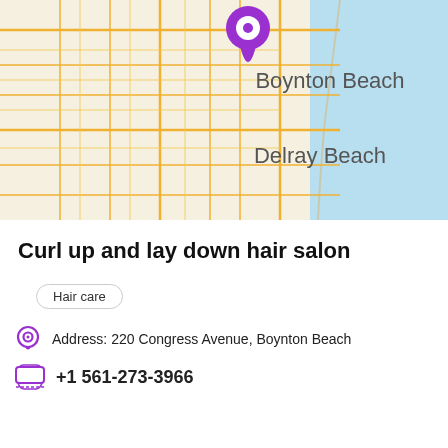[Figure (map): Street map showing Boynton Beach and Delray Beach area in Florida with a purple location pin marker over Boynton Beach. Map shows road grid, coastline, and light blue ocean/water area on the right.]
Curl up and lay down hair salon
Hair care
Address: 220 Congress Avenue, Boynton Beach
+1 561-273-3966